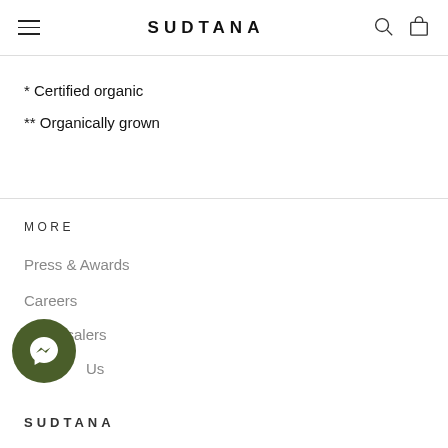SUDTANA
* Certified organic
** Organically grown
MORE
Press & Awards
Careers
Wholesalers
Us
SUDTANA